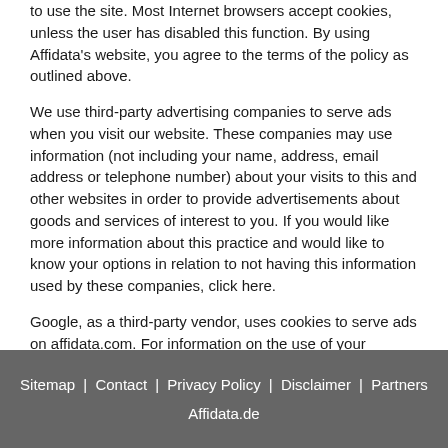to use the site. Most Internet browsers accept cookies, unless the user has disabled this function. By using Affidata's website, you agree to the terms of the policy as outlined above.
We use third-party advertising companies to serve ads when you visit our website. These companies may use information (not including your name, address, email address or telephone number) about your visits to this and other websites in order to provide advertisements about goods and services of interest to you. If you would like more information about this practice and would like to know your options in relation to not having this information used by these companies, click here.
Google, as a third-party vendor, uses cookies to serve ads on affidata.com. For information on the use of your personal data by Google, please visit this page: HOW GOOGLE USES INFORMATION FROM SITES OR APPS THAT USE OUR SERVICES
.
Sitemap | Contact | Privacy Policy | Disclaimer | Partners Affidata.de